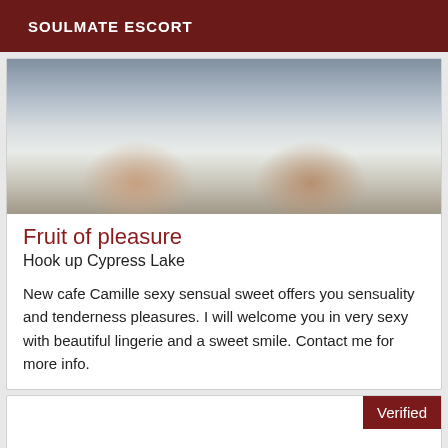SOULMATE ESCORT
[Figure (photo): Photo showing a person lying in white bedding, partial view]
Fruit of pleasure
Hook up Cypress Lake
New cafe Camille sexy sensual sweet offers you sensuality and tenderness pleasures. I will welcome you in very sexy with beautiful lingerie and a sweet smile. Contact me for more info.
Verified